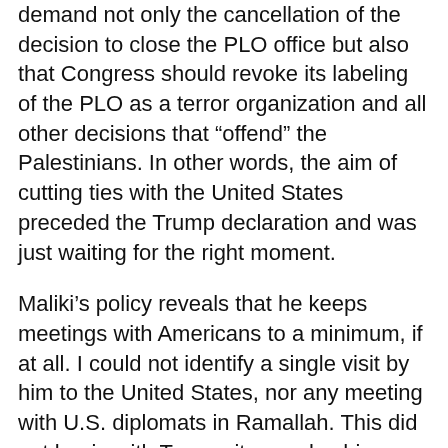demand not only the cancellation of the decision to close the PLO office but also that Congress should revoke its labeling of the PLO as a terror organization and all other decisions that “offend” the Palestinians. In other words, the aim of cutting ties with the United States preceded the Trump declaration and was just waiting for the right moment.
Maliki’s policy reveals that he keeps meetings with Americans to a minimum, if at all. I could not identify a single visit by him to the United States, nor any meeting with U.S. diplomats in Ramallah. This did not begin with Trump; it was also his policy in the days of President Obama.
However, Maliki was very close to Venezuela, the South American country most hostile to the United States and